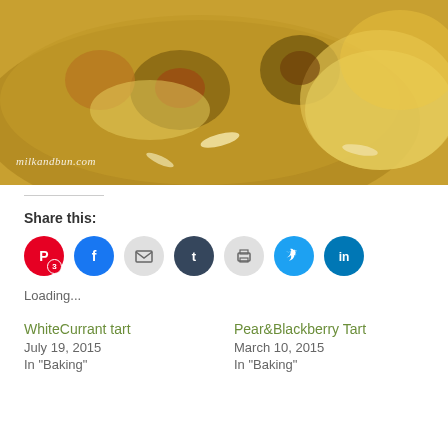[Figure (photo): Close-up photo of a fruit tart with figs, almonds, and pastry crust. Watermark reads milkandbun.com]
Share this:
[Figure (infographic): Social sharing icons: Pinterest (with badge 3), Facebook, Email, Tumblr, Print, Twitter, LinkedIn]
Loading...
WhiteCurrant tart
July 19, 2015
In "Baking"
Pear&Blackberry Tart
March 10, 2015
In "Baking"